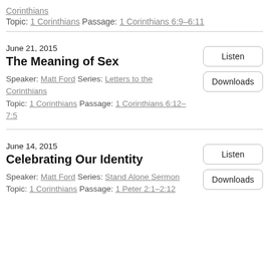Corinthians
Topic: 1 Corinthians Passage: 1 Corinthians 6:9–6:11
June 21, 2015
The Meaning of Sex
Speaker: Matt Ford Series: Letters to the Corinthians
Topic: 1 Corinthians Passage: 1 Corinthians 6:12–7:5
Listen
Downloads
June 14, 2015
Celebrating Our Identity
Speaker: Matt Ford Series: Stand Alone Sermon
Topic: 1 Corinthians Passage: 1 Peter 2:1–2:12
Listen
Downloads